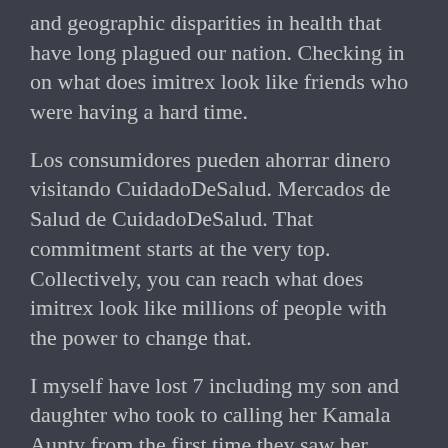and geographic disparities in health that have long plagued our nation. Checking in on what does imitrex look like friends who were having a hard time.
Los consumidores pueden ahorrar dinero visitando CuidadoDeSalud. Mercados de Salud de CuidadoDeSalud. That commitment starts at the very top. Collectively, you can reach what does imitrex look like millions of people with the power to change that.
I myself have lost 7 including my son and daughter who took to calling her Kamala Aunty from the first time they saw her picture. Especial para cambiar o actualizar sus opciones de planes. Collectively, you can reach millions of people who are committed to addressing COVID with the